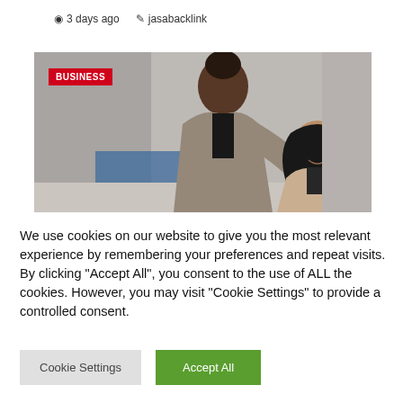3 days ago   jasabacklink
[Figure (photo): Two women in a business setting, one standing leaning over and one seated, both smiling. A red 'BUSINESS' badge is overlaid on the top-left of the image.]
We use cookies on our website to give you the most relevant experience by remembering your preferences and repeat visits. By clicking "Accept All", you consent to the use of ALL the cookies. However, you may visit "Cookie Settings" to provide a controlled consent.
Cookie Settings   Accept All